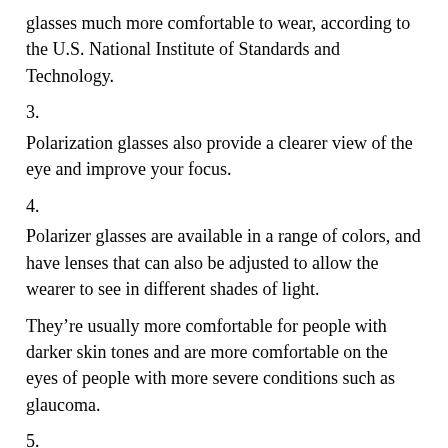glasses much more comfortable to wear, according to the U.S. National Institute of Standards and Technology.
3.
Polarization glasses also provide a clearer view of the eye and improve your focus.
4.
Polarizer glasses are available in a range of colors, and have lenses that can also be adjusted to allow the wearer to see in different shades of light.
They’re usually more comfortable for people with darker skin tones and are more comfortable on the eyes of people with more severe conditions such as glaucoma.
5.
Some polarized glasses also come with a built in lens that can block light so they won’t be visible to people with normal vision